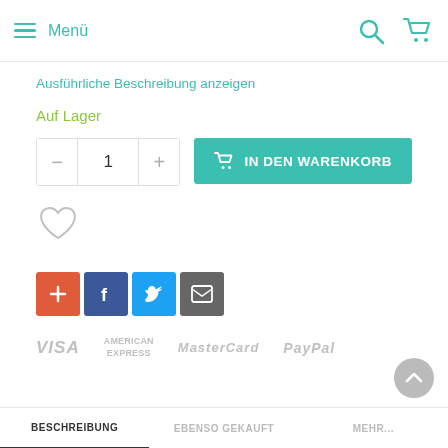≡ Menü
Ausführliche Beschreibung anzeigen
Auf Lager
[Figure (infographic): Quantity selector with minus and plus buttons showing '1', and a teal 'IN DEN WARENKORB' (Add to Cart) button with cart icon]
[Figure (infographic): Heart/wishlist icon (outline)]
[Figure (infographic): Social sharing icons: red plus, Facebook (blue), Twitter (blue), Email (grey)]
[Figure (infographic): Payment logos: VISA, AMERICAN EXPRESS, MasterCard, PayPal — all in grey]
BESCHREIBUNG   EBENSO GEKAUFT   MEHR...